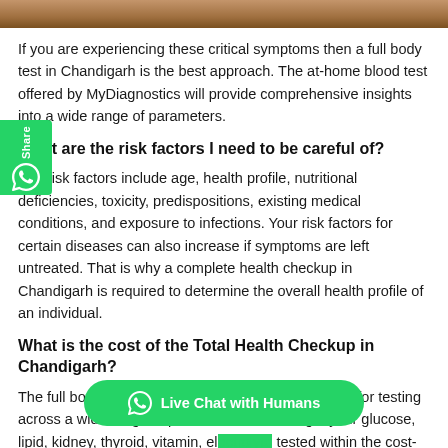[Figure (photo): Photo strip at top of page showing partial image of people]
If you are experiencing these critical symptoms then a full body test in Chandigarh is the best approach. The at-home blood test offered by MyDiagnostics will provide comprehensive insights into a wide range of parameters.
What are the risk factors I need to be careful of?
Key risk factors include age, health profile, nutritional deficiencies, toxicity, predispositions, existing medical conditions, and exposure to infections. Your risk factors for certain diseases can also increase if symptoms are left untreated. That is why a complete health checkup in Chandigarh is required to determine the overall health profile of an individual.
What is the cost of the Total Health Checkup in Chandigarh?
The full body checkup Chandigarh price is INR 3800 for testing across a wide range of parameters. You can get your glucose, lipid, kidney, thyroid, vitamin, el... tested within the cost-effective h... your adrenal hormones checked, which can be responsible for